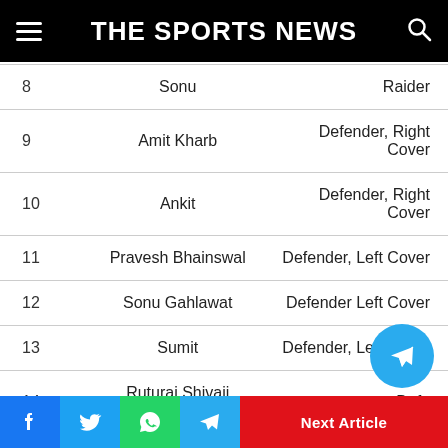THE SPORTS NEWS
| # | Name | Role |
| --- | --- | --- |
| 8 | Sonu | Raider |
| 9 | Amit Kharb | Defender, Right Cover |
| 10 | Ankit | Defender, Right Cover |
| 11 | Pravesh Bhainswal | Defender, Left Cover |
| 12 | Sonu Gahlawat | Defender Left Cover |
| 13 | Sumit | Defender, Left Cover |
| 14 | Ruturaj Shivaji Koravi | Defe... |
| 15 | Sunil Kumar | Defender |
Facebook | Twitter | WhatsApp | Telegram | Next Article